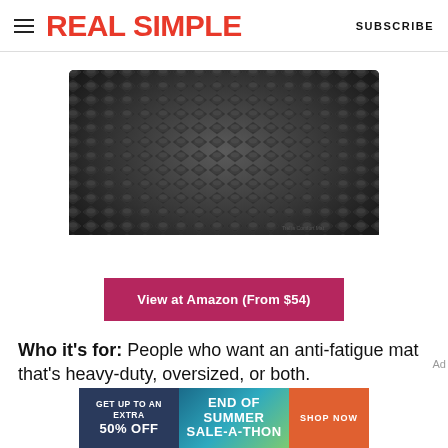REAL SIMPLE | SUBSCRIBE
[Figure (photo): Close-up photo of a dark grey/black anti-fatigue kitchen mat with diamond-pattern textured surface, shown from above with rounded shape visible]
View at Amazon (From $54)
Who it's for: People who want an anti-fatigue mat that's heavy-duty, oversized, or both.
[Figure (infographic): Advertisement banner: GET UP TO AN EXTRA 50% OFF | END OF SUMMER SALE-A-THON | SHOP NOW]